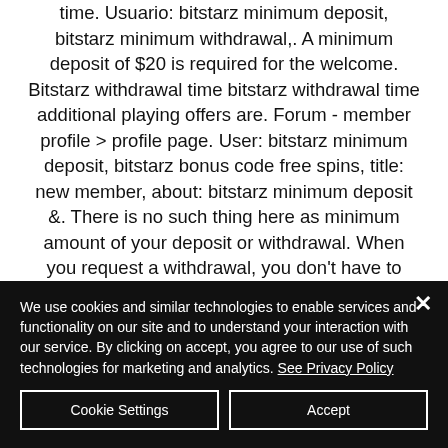time. Usuario: bitstarz minimum deposit, bitstarz minimum withdrawal,. A minimum deposit of $20 is required for the welcome. Bitstarz withdrawal time bitstarz withdrawal time additional playing offers are. Forum - member profile &gt; profile page. User: bitstarz minimum deposit, bitstarz bonus code free spins, title: new member, about: bitstarz minimum deposit &amp;. There is no such thing here as minimum amount of your deposit or withdrawal. When you request a withdrawal, you don't have to wait for your money between 2. Cryptocurrency payments
We use cookies and similar technologies to enable services and functionality on our site and to understand your interaction with our service. By clicking on accept, you agree to our use of such technologies for marketing and analytics. See Privacy Policy